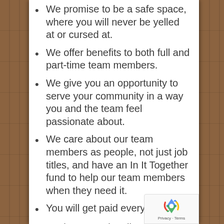We promise to be a safe space, where you will never be yelled at or cursed at.
We offer benefits to both full and part-time team members.
We give you an opportunity to serve your community in a way you and the team feel passionate about.
We care about our team members as people, not just job titles, and have an In It Together fund to help our team members when they need it.
You will get paid every Friday.
We house-make all our food, so you can be proud of what you are serving.
We close at 2, so even if it takes a long time to close, you're still home for dinner.
We have so many growth opportunities: we're growing fast throughout the Southeast and you can grow with us!
Who doesn't love free food? When you